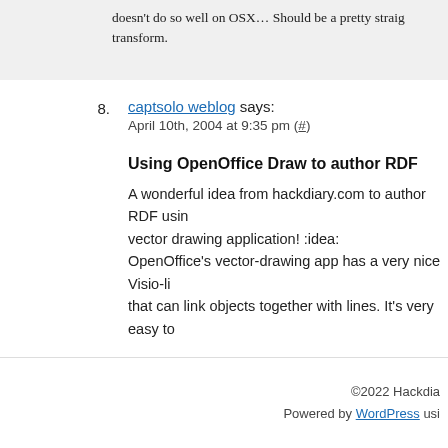doesn't do so well on OSX… Should be a pretty straigh transform.
8. captsolo weblog says: April 10th, 2004 at 9:35 pm (#)
Using OpenOffice Draw to author RDF
A wonderful idea from hackdiary.com to author RDF usin vector drawing application! :idea: OpenOffice's vector-drawing app has a very nice Visio-li that can link objects together with lines. It's very easy to
©2022 Hackdia Powered by WordPress usi